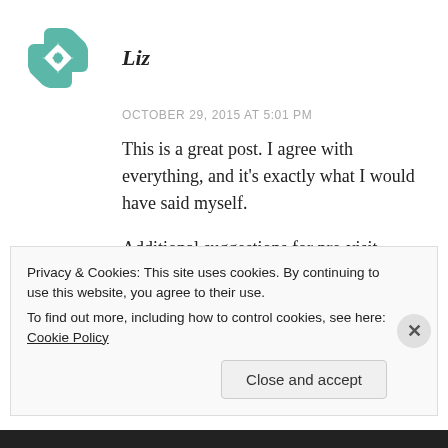Liz
OCTOBER 29, 2015 AT 5:01 PM
This is a great post. I agree with everything, and it's exactly what I would have said myself.
Additional suggestions for pre-visit emailing:
Ask for recommendations on nearby hotels
Privacy & Cookies: This site uses cookies. By continuing to use this website, you agree to their use.
To find out more, including how to control cookies, see here: Cookie Policy
Close and accept